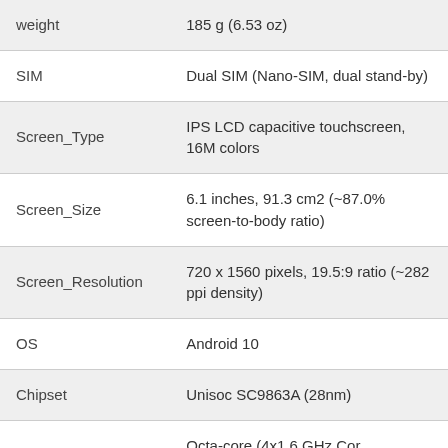| Attribute | Value |
| --- | --- |
| weight | 185 g (6.53 oz) |
| SIM | Dual SIM (Nano-SIM, dual stand-by) |
| Screen_Type | IPS LCD capacitive touchscreen, 16M colors |
| Screen_Size | 6.1 inches, 91.3 cm2 (~87.0% screen-to-body ratio) |
| Screen_Resolution | 720 x 1560 pixels, 19.5:9 ratio (~282 ppi density) |
| OS | Android 10 |
| Chipset | Unisoc SC9863A (28nm) |
| CPU (partial) | Octa-core 1.6 GHz Cortex-... |